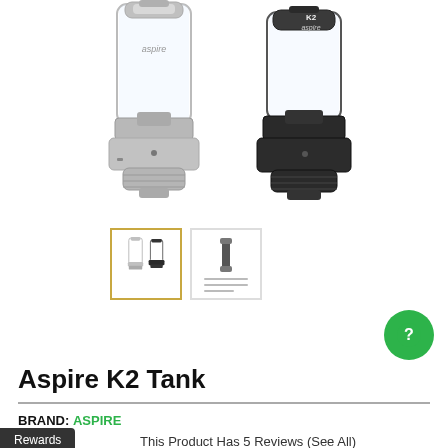[Figure (photo): Two Aspire K2 Tank vaping devices side by side — silver/chrome on the left and black on the right, each with a clear glass tank section.]
[Figure (photo): Thumbnail image 1: both Aspire K2 Tank color variants (silver and black) shown together, selected/active thumbnail with gold border.]
[Figure (photo): Thumbnail image 2: additional product image showing accessory parts and text details.]
Aspire K2 Tank
BRAND: ASPIRE
Rewards
This Product Has 5 Reviews (See All)